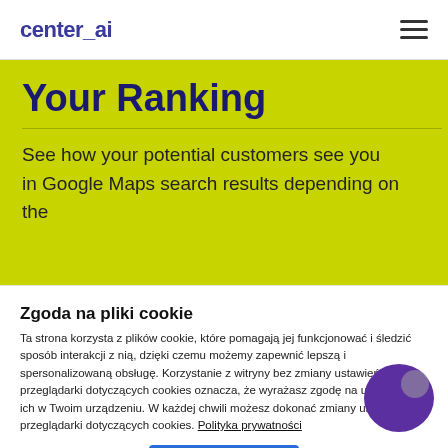center_ai
Your Ranking
See how your potential customers see you in Google Maps search results depending on the
Zgoda na pliki cookie
Ta strona korzysta z plików cookie, które pomagają jej funkcjonować i śledzić sposób interakcji z nią, dzięki czemu możemy zapewnić lepszą i spersonalizowaną obsługę. Korzystanie z witryny bez zmiany ustawień przeglądarki dotyczących cookies oznacza, że wyrażasz zgodę na umieszczane ich w Twoim urządzeniu. W każdej chwili możesz dokonać zmiany ustawień przeglądarki dotyczących cookies. Polityka prywatności